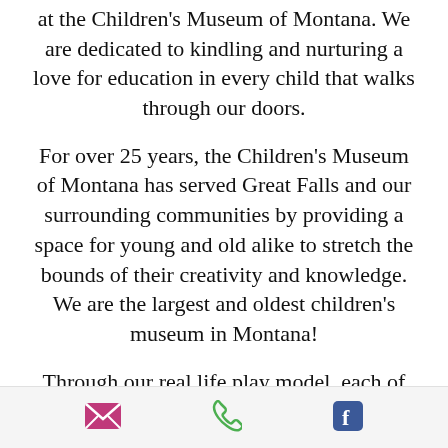at the Children's Museum of Montana. We are dedicated to kindling and nurturing a love for education in every child that walks through our doors.
For over 25 years, the Children's Museum of Montana has served Great Falls and our surrounding communities by providing a space for young and old alike to stretch the bounds of their creativity and knowledge. We are the largest and oldest children's museum in Montana!
Through our real life play model, each of our individual exhibits provides the opportunity for creative play and cognitive
[email icon] [phone icon] [facebook icon]